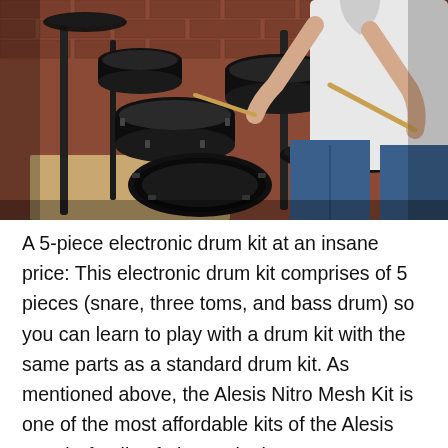[Figure (photo): A person playing an electronic drum kit (black mesh pads, cymbals, hardware rack) in front of a red brick wall. The drummer is holding drumsticks and wearing jeans and a white t-shirt.]
A 5-piece electronic drum kit at an insane price: This electronic drum kit comprises of 5 pieces (snare, three toms, and bass drum) so you can learn to play with a drum kit with the same parts as a standard drum kit. As mentioned above, the Alesis Nitro Mesh Kit is one of the most affordable kits of the Alesis “Mesh” family of electronic drums. Authentically, the most